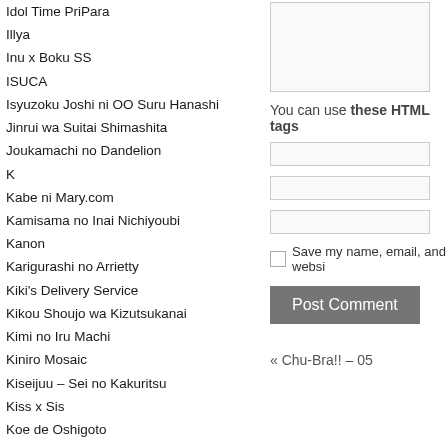Idol Time PriPara
Illya
Inu x Boku SS
ISUCA
Isyuzoku Joshi ni OO Suru Hanashi
Jinrui wa Suitai Shimashita
Joukamachi no Dandelion
K
Kabe ni Mary.com
Kamisama no Inai Nichiyoubi
Kanon
Karigurashi no Arrietty
Kiki's Delivery Service
Kikou Shoujo wa Kizutsukanai
Kimi no Iru Machi
Kiniro Mosaic
Kiseijuu – Sei no Kakuritsu
Kiss x Sis
Koe de Oshigoto
Koi to Senkyo to Chocolate
Koi x Kagi
Kokoro Connect
Kono Bijutsubu ni wa Mondai ga Aru!
KonoSuba
Kore wa Zombie Desu ka
Kotonoha no Niwa
Koutetsujou no Kabaneri
Kowarekake no Orgel
Kuusen Madoushi
Kyoukai no Kanata
Ladies versus Butlers!
Lucky Star
You can use these HTML tags
Save my name, email, and websi…
Post Comment
« Chu-Bra!! – 05